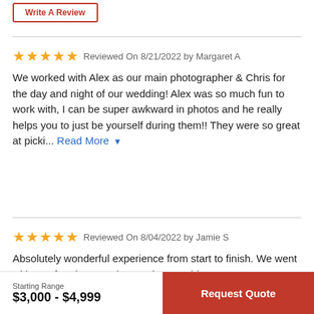Write A Review
★★★★★ Reviewed On 8/21/2022 by Margaret A
We worked with Alex as our main photographer & Chris for the day and night of our wedding! Alex was so much fun to work with, I can be super awkward in photos and he really helps you to just be yourself during them!! They were so great at picki... Read More
★★★★★ Reviewed On 8/04/2022 by Jamie S
Absolutely wonderful experience from start to finish. We went with Joe for photographer, and we could not
Starting Range
$3,000 - $4,999
Request Quote